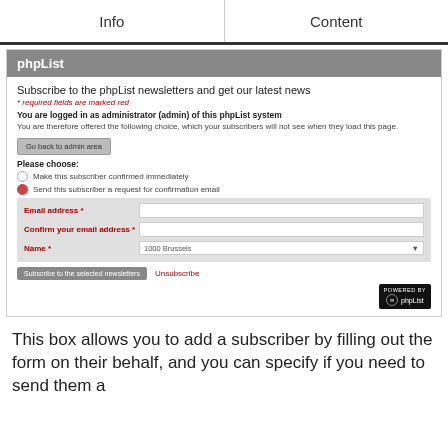Info | Content
[Figure (screenshot): phpList subscription form screenshot showing subscribe form with email, confirm email, name fields, radio buttons for confirmation options, and Subscribe/Unsubscribe buttons]
This box allows you to add a subscriber by filling out the form on their behalf, and you can specify if you need to send them a